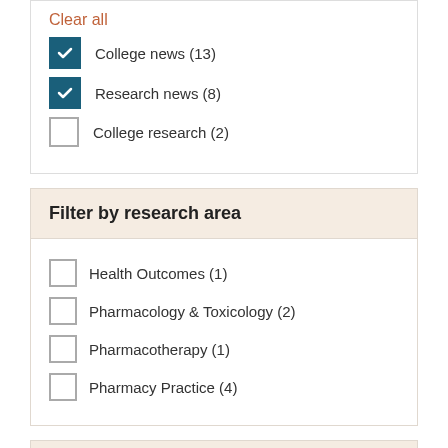Clear all
College news (13) [checked]
Research news (8) [checked]
College research (2) [unchecked]
Filter by research area
Health Outcomes (1) [unchecked]
Pharmacology & Toxicology (2) [unchecked]
Pharmacotherapy (1) [unchecked]
Pharmacy Practice (4) [unchecked]
Filter by faculty member